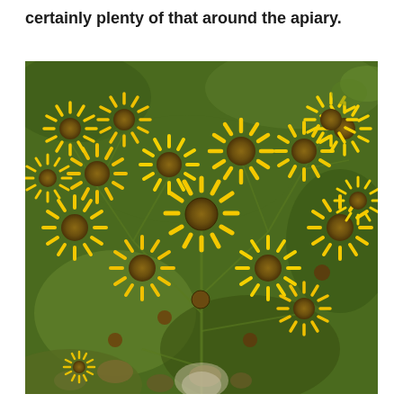certainly plenty of that around the apiary.
[Figure (photo): Close-up photograph of numerous bright yellow daisy-like flowers with brown/orange centers (ragwort or similar composite flowers) against a background of green foliage and stems.]